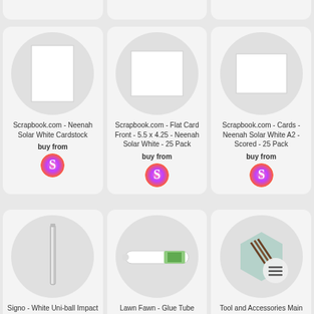[Figure (screenshot): Top partial row of product cards (cropped)]
Scrapbook.com - Neenah Solar White Cardstock
buy from
[Figure (logo): Scrapbook.com colorful S logo]
Scrapbook.com - Flat Card Front - 5.5 x 4.25 - Neenah Solar White - 25 Pack
buy from
[Figure (logo): Scrapbook.com colorful S logo]
Scrapbook.com - Cards - Neenah Solar White A2 - Scored - 25 Pack
buy from
[Figure (logo): Scrapbook.com colorful S logo]
Signo - White Uni-ball Impact Pen
Lawn Fawn - Glue Tube
Tool and Accessories Main Attraction